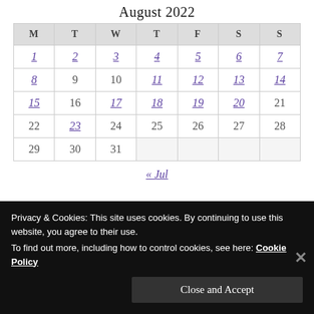August 2022
| M | T | W | T | F | S | S |
| --- | --- | --- | --- | --- | --- | --- |
| 1 | 2 | 3 | 4 | 5 | 6 | 7 |
| 8 | 9 | 10 | 11 | 12 | 13 | 14 |
| 15 | 16 | 17 | 18 | 19 | 20 | 21 |
| 22 | 23 | 24 | 25 | 26 | 27 | 28 |
| 29 | 30 | 31 |  |  |  |  |
« Jul
Privacy & Cookies: This site uses cookies. By continuing to use this website, you agree to their use.
To find out more, including how to control cookies, see here: Cookie Policy
Close and Accept